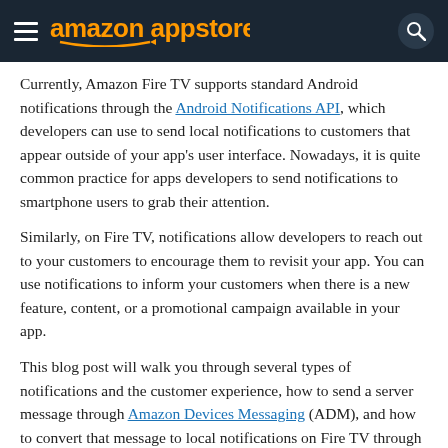amazon appstore
Currently, Amazon Fire TV supports standard Android notifications through the Android Notifications API, which developers can use to send local notifications to customers that appear outside of your app's user interface. Nowadays, it is quite common practice for apps developers to send notifications to smartphone users to grab their attention.
Similarly, on Fire TV, notifications allow developers to reach out to your customers to encourage them to revisit your app. You can use notifications to inform your customers when there is a new feature, content, or a promotional campaign available in your app.
This blog post will walk you through several types of notifications and the customer experience, how to send a server message through Amazon Devices Messaging (ADM), and how to convert that message to local notifications on Fire TV through the Android Notification API.
Note: Please be aware that ADM is required to push messages from your back-end to Amazon Fire OS devices,